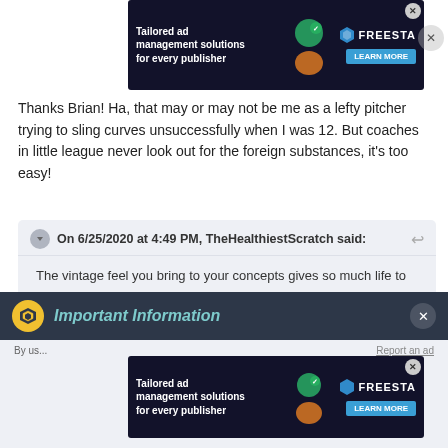[Figure (screenshot): Ad banner at top: dark background with 'Tailored ad management solutions for every publisher' text, FREESTA logo, and LEARN MORE button]
Thanks Brian! Ha, that may or may not be me as a lefty pitcher trying to sling curves unsuccessfully when I was 12. But coaches in little league never look out for the foreign substances, it's too easy!
On 6/25/2020 at 4:49 PM, TheHealthiestScratch said:
The vintage feel you bring to your concepts gives so much life to the work you do. I enjoy the simplicity of the logos and have to say that I wish their primary was used more in the brand because it is so strong (but it is baseball after all, so the use of it on one cap seems accurate).
I love your take on a template, and envy your ability to produce
Important Information
Report an ad
[Figure (screenshot): Ad banner at bottom: dark background with 'Tailored ad management solutions for every publisher' text, FREESTA logo, and LEARN MORE button]